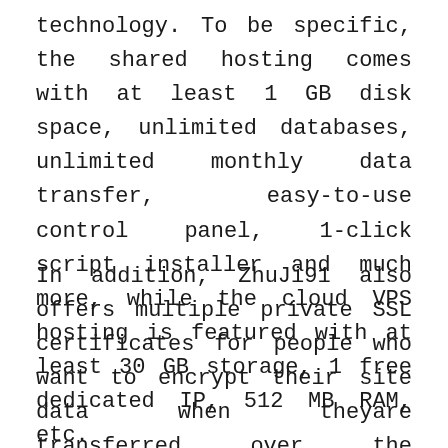technology. To be specific, the shared hosting comes with at least 1 GB disk space, unlimited databases, unlimited monthly data transfer, easy-to-use control panel, 1-click script installer and much more, while the cloud VPS hosting is featured with at least 30 GB storage, 1 free dedicated IP, 512 MB RAM, etc.
In addition, ZhuJi91 also offers multiple private SSL certificates for people who want to encrypt their site data when theyare transferred over the Internet and get a ranking boost. Visit this page to learn more about ZhuJi91 SSL certificates.